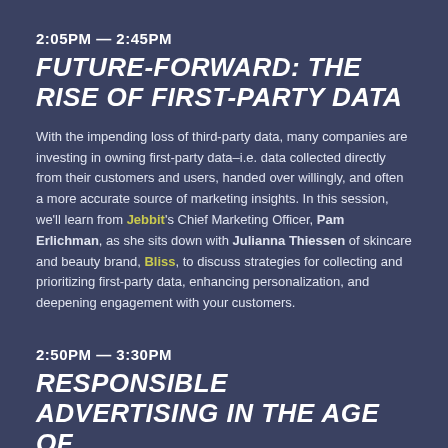2:05PM — 2:45PM
FUTURE-FORWARD: THE RISE OF FIRST-PARTY DATA
With the impending loss of third-party data, many companies are investing in owning first-party data–i.e. data collected directly from their customers and users, handed over willingly, and often a more accurate source of marketing insights. In this session, we'll learn from Jebbit's Chief Marketing Officer, Pam Erlichman, as she sits down with Julianna Thiessen of skincare and beauty brand, Bliss, to discuss strategies for collecting and prioritizing first-party data, enhancing personalization, and deepening engagement with your customers.
2:50PM — 3:30PM
RESPONSIBLE ADVERTISING IN THE AGE OF